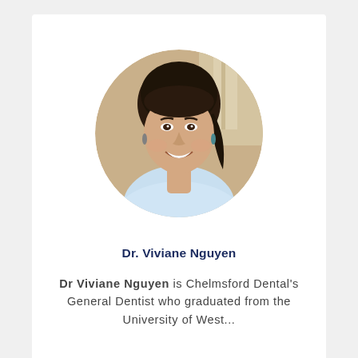[Figure (photo): Circular headshot photo of Dr. Viviane Nguyen, a young woman with dark hair pulled back, smiling, wearing a light blue medical/dental coat. Background shows a warm beige/office setting.]
Dr. Viviane Nguyen
Dr Viviane Nguyen is Chelmsford Dental's General Dentist who graduated from the University of West...